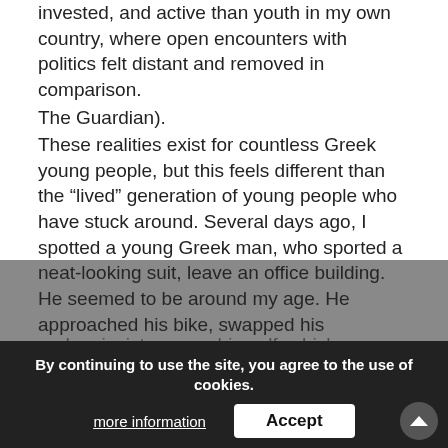invested, and active than youth in my own country, where open encounters with politics felt distant and removed in comparison.
The Guardian).
These realities exist for countless Greek young people, but this feels different than the “lived” generation of young people who have stuck around. Several days ago, I spotted a young Greek man, who sported a neat-looking suit, leave an office building. He seemed to be around my age. He approached his bike, swapped his professional-looking shoes for a pair of worn-in sneakers, and attempted to start the engine before finally succeeding on his fifth try.
This man, who would likely be described by existing scholarship and reports as “lost,” embodied resilience. He responded to the bike engine’s hesitation with persistence
and an insistence on himself, which — based on my few weeks in central Athens, as an                     cts a broader sense of youth driven determination that challenges and perhaps transcends the disillusion of Greece’s “Lost